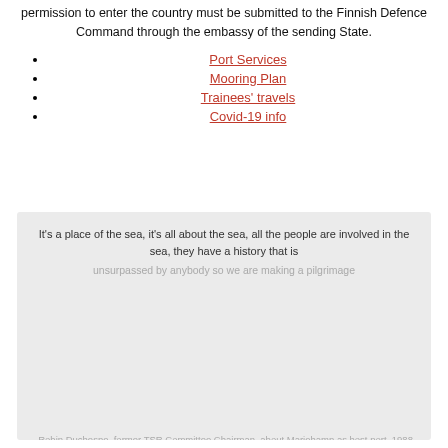permission to enter the country must be submitted to the Finnish Defence Command through the embassy of the sending State.
Port Services
Mooring Plan
Trainees' travels
Covid-19 info
It's a place of the sea, it's all about the sea, all the people are involved in the sea, they have a history that is unsurpassed by anybody so we are making a pilgrimage
This website uses cookies. Denna webbplats använder kakor. Learn more / Läs mer
- Robin Duchesne, former TSR Committee Chairman, about Mariehamn as host port. 1988.